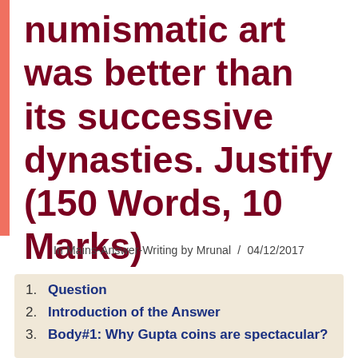numismatic art was better than its successive dynasties. Justify (150 Words, 10 Marks)
In Mains-Answer-Writing by Mrunal / 04/12/2017
1. Question
2. Introduction of the Answer
3. Body#1: Why Gupta coins are spectacular?